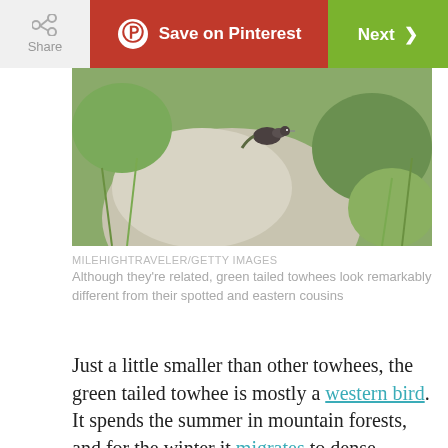Share | Save on Pinterest | Next
[Figure (photo): A green-tailed towhee bird perched on or near a large rock, with green grassy background.]
MILEHIGHTRAVELER/GETTY IMAGES
Although they're related, green tailed towhees look remarkably different from their spotted and eastern cousins
Just a little smaller than other towhees, the green tailed towhee is mostly a western bird. It spends the summer in mountain forests, and for the winter it migrates to dense thickets along rivers and streams in the Southwest. As its name suggests, it has yellow-green on the tail as well as on the wings and back.